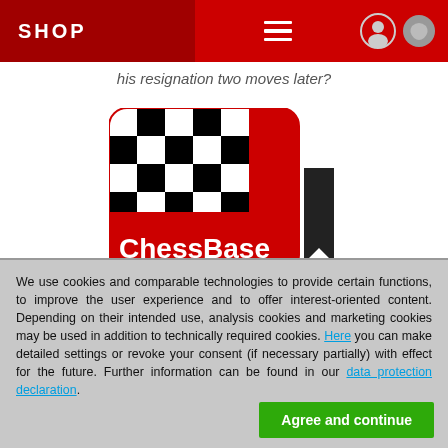SHOP
his resignation two moves later?
[Figure (logo): ChessBase logo: red rounded square with black-and-white checkerboard pattern in upper left, 'ChessBase' text in white on red background, with a black bookmark shape to the right]
We use cookies and comparable technologies to provide certain functions, to improve the user experience and to offer interest-oriented content. Depending on their intended use, analysis cookies and marketing cookies may be used in addition to technically required cookies. Here you can make detailed settings or revoke your consent (if necessary partially) with effect for the future. Further information can be found in our data protection declaration.